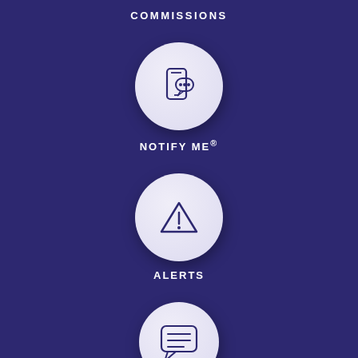COMMISSIONS
[Figure (illustration): Circle icon with smartphone and speech bubble with ellipsis]
NOTIFY ME®
[Figure (illustration): Circle icon with warning triangle and exclamation mark]
ALERTS
[Figure (illustration): Circle icon with speech bubble containing three horizontal lines (chat/message icon)]